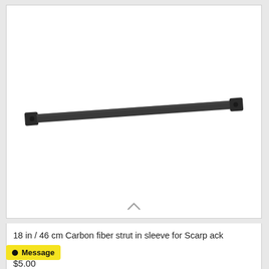[Figure (photo): A long, thin black carbon fiber strut/rod shown diagonally from lower-left to upper-right against a white background inside a product card frame.]
18 in / 46 cm Carbon fiber strut in sleeve for Scarp ack
Message
$5.00